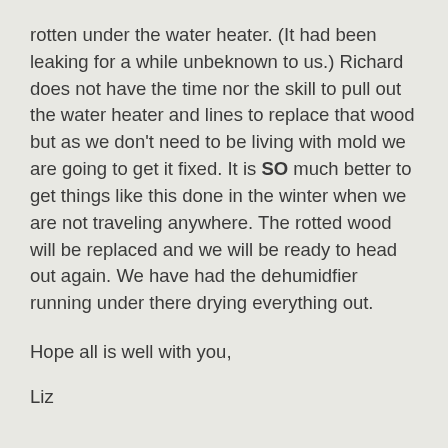rotten under the water heater. (It had been leaking for a while unbeknown to us.) Richard does not have the time nor the skill to pull out the water heater and lines to replace that wood but as we don't need to be living with mold we are going to get it fixed. It is SO much better to get things like this done in the winter when we are not traveling anywhere. The rotted wood will be replaced and we will be ready to head out again. We have had the dehumidfier running under there drying everything out.
Hope all is well with you,
Liz